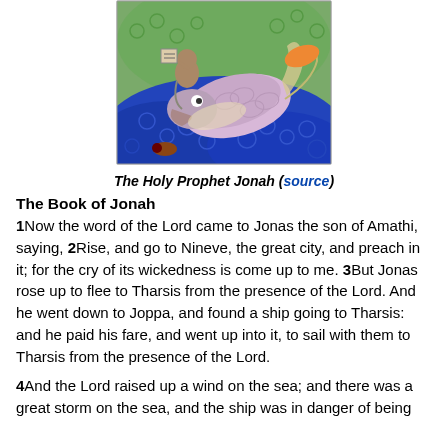[Figure (illustration): Colorful painting of The Holy Prophet Jonah, depicting a large fish in blue swirling waters with a figure holding a tablet above.]
The Holy Prophet Jonah (source)
The Book of Jonah
1Now the word of the Lord came to Jonas the son of Amathi, saying, 2Rise, and go to Nineve, the great city, and preach in it; for the cry of its wickedness is come up to me. 3But Jonas rose up to flee to Tharsis from the presence of the Lord. And he went down to Joppa, and found a ship going to Tharsis: and he paid his fare, and went up into it, to sail with them to Tharsis from the presence of the Lord.
4And the Lord raised up a wind on the sea; and there was a great storm on the sea, and the ship was in danger of being